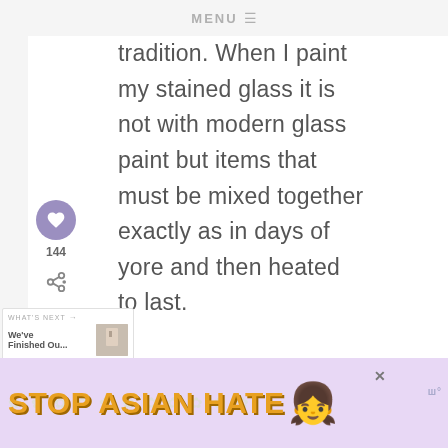MENU ☰
tradition. When I paint my stained glass it is not with modern glass paint but items that must be mixed together exactly as in days of yore and then heated to last.

Sorry C, for going on it
144
[Figure (infographic): WHAT'S NEXT arrow label with 'We've Finished Ou...' text and thumbnail image preview]
[Figure (infographic): STOP ASIAN HATE advertisement banner with floral decorations and anime character on purple background]